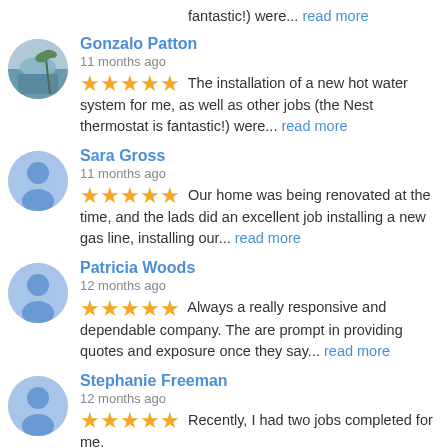fantastic!) were... read more
Gonzalo Patton
11 months ago
★★★★★ The installation of a new hot water system for me, as well as other jobs (the Nest thermostat is fantastic!) were... read more
Sara Gross
11 months ago
★★★★★ Our home was being renovated at the time, and the lads did an excellent job installing a new gas line, installing our... read more
Patricia Woods
12 months ago
★★★★★ Always a really responsive and dependable company. The are prompt in providing quotes and exposure once they say... read more
Stephanie Freeman
12 months ago
★★★★★ Recently, I had two jobs completed for me.